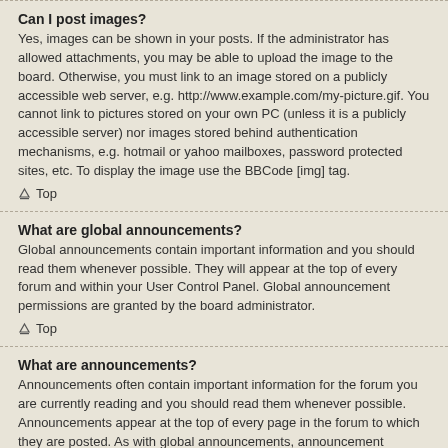Can I post images?
Yes, images can be shown in your posts. If the administrator has allowed attachments, you may be able to upload the image to the board. Otherwise, you must link to an image stored on a publicly accessible web server, e.g. http://www.example.com/my-picture.gif. You cannot link to pictures stored on your own PC (unless it is a publicly accessible server) nor images stored behind authentication mechanisms, e.g. hotmail or yahoo mailboxes, password protected sites, etc. To display the image use the BBCode [img] tag.
Top
What are global announcements?
Global announcements contain important information and you should read them whenever possible. They will appear at the top of every forum and within your User Control Panel. Global announcement permissions are granted by the board administrator.
Top
What are announcements?
Announcements often contain important information for the forum you are currently reading and you should read them whenever possible. Announcements appear at the top of every page in the forum to which they are posted. As with global announcements, announcement permissions are granted by the board administrator.
Top